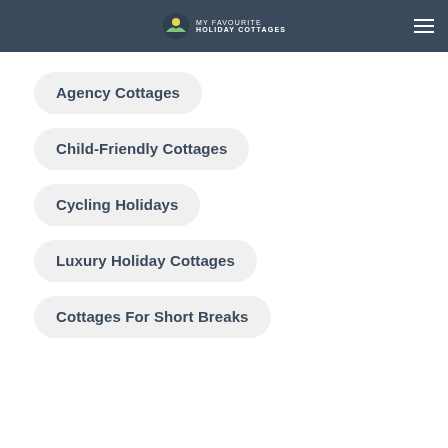MY FAVOURITE HOLIDAY COTTAGES
Agency Cottages
Child-Friendly Cottages
Cycling Holidays
Luxury Holiday Cottages
Cottages For Short Breaks